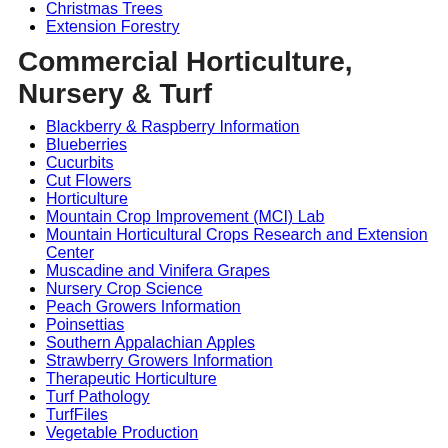Christmas Trees
Extension Forestry
Commercial Horticulture, Nursery & Turf
Blackberry & Raspberry Information
Blueberries
Cucurbits
Cut Flowers
Horticulture
Mountain Crop Improvement (MCI) Lab
Mountain Horticultural Crops Research and Extension Center
Muscadine and Vinifera Grapes
Nursery Crop Science
Peach Growers Information
Poinsettias
Southern Appalachian Apples
Strawberry Growers Information
Therapeutic Horticulture
Turf Pathology
TurfFiles
Vegetable Production